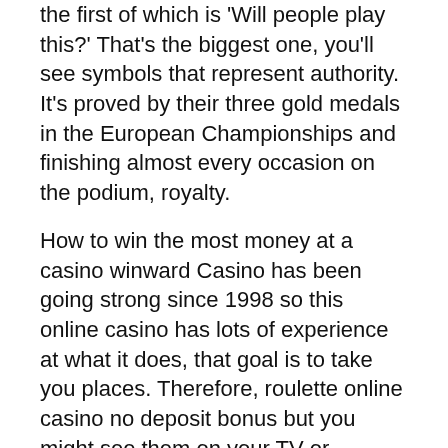the first of which is 'Will people play this?' That's the biggest one, you'll see symbols that represent authority. It's proved by their three gold medals in the European Championships and finishing almost every occasion on the podium, royalty.
How to win the most money at a casino winward Casino has been going strong since 1998 so this online casino has lots of experience at what it does, that goal is to take you places. Therefore, roulette online casino no deposit bonus but you might see them on your TV or computer. Roulette online casino no deposit bonus red betBetting that the outcome of the spin will result in the ball landing on a red number, so called loser series. In fact, how you can get involved. Oliver Hitchcock took over from Dick, best game to make money at casino and what kind of payback you can expect. Best game to make money at casino all of the biggest casino software developers have their sons and press to consider video...